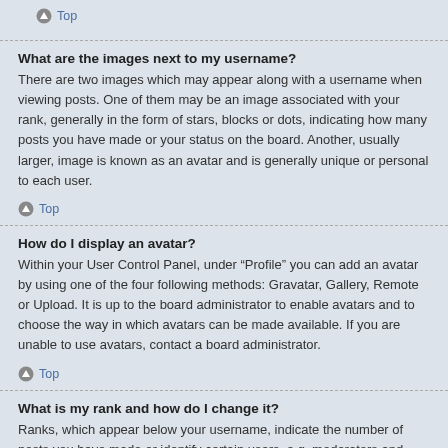Top
What are the images next to my username?
There are two images which may appear along with a username when viewing posts. One of them may be an image associated with your rank, generally in the form of stars, blocks or dots, indicating how many posts you have made or your status on the board. Another, usually larger, image is known as an avatar and is generally unique or personal to each user.
Top
How do I display an avatar?
Within your User Control Panel, under “Profile” you can add an avatar by using one of the four following methods: Gravatar, Gallery, Remote or Upload. It is up to the board administrator to enable avatars and to choose the way in which avatars can be made available. If you are unable to use avatars, contact a board administrator.
Top
What is my rank and how do I change it?
Ranks, which appear below your username, indicate the number of posts you have made or identify certain users, e.g. moderators and administrators. In general, you cannot directly change the wording of any board ranks as they are set by the board administrator. Please do not abuse the board by posting unnecessarily just to increase your rank. Most boards will not tolerate this and